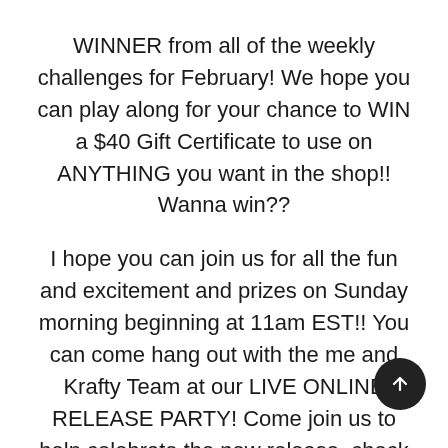WINNER from all of the weekly challenges for February! We hope you can play along for your chance to WIN a $40 Gift Certificate to use on ANYTHING you want in the shop!! Wanna win??
I hope you can join us for all the fun and excitement and prizes on Sunday morning beginning at 11am EST!! You can come hang out with the me and Krafty Team at our LIVE ONLINE RELEASE PARTY! Come join us to help celebrate the new release, check out lots of krafty kreations, have a chance to win some prizes and hang out with all our krafty friends!
11 Comments